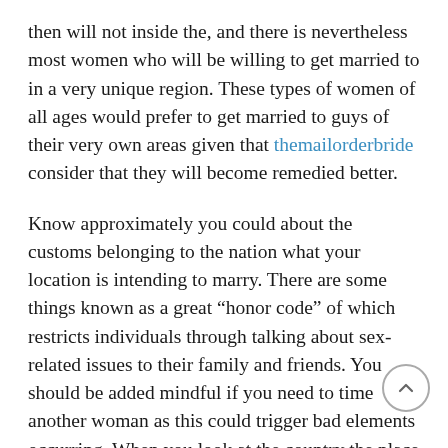then will not inside the, and there is nevertheless most women who will be willing to get married to in a very unique region. These types of women of all ages would prefer to get married to guys of their very own areas given that themailorderbride consider that they will become remedied better.
Know approximately you could about the customs belonging to the nation what your location is intending to marry. There are some things known as a great “honor code” of which restricts individuals through talking about sex-related issues to their family and friends. You should be added mindful if you need to time another woman as this could trigger bad elements occurring. When you look at the country the place that the person is going to be hitched, make sure that you happen to be well intentioned adequate to go with your ex family. Have a tendency take the time these people or perhaps rush about when fast paced carrying out some thing